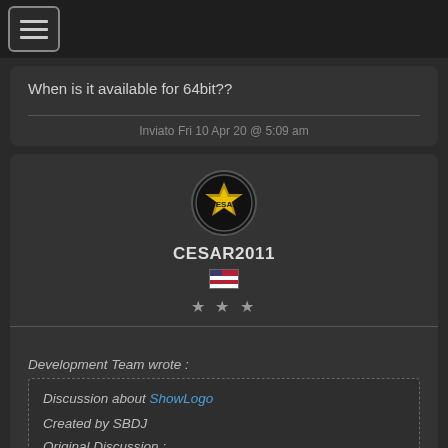Navigation menu button
When is it available for 64bit??
Inviato Fri 10 Apr 20 @ 5:09 am
[Figure (logo): CESAR2011 user avatar - circular dark badge with gold emblem]
CESAR2011
[Figure (illustration): US flag small icon]
★ ★ ★
Development Team wrote :
Discussion about ShowLogo

Created by SBDJ
Original Discussion :